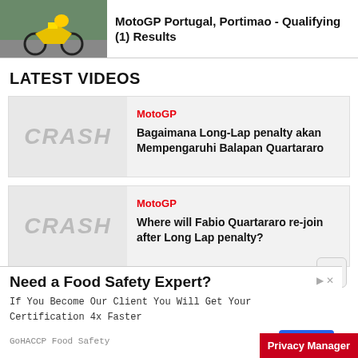[Figure (photo): Motorcycle rider on track at MotoGP Portugal, Portimao]
MotoGP Portugal, Portimao - Qualifying (1) Results
LATEST VIDEOS
[Figure (screenshot): CRASH logo thumbnail placeholder for video card 1]
MotoGP
Bagaimana Long-Lap penalty akan Mempengaruhi Balapan Quartararo
[Figure (screenshot): CRASH logo thumbnail placeholder for video card 2]
MotoGP
Where will Fabio Quartararo re-join after Long Lap penalty?
[Figure (other): Advertisement banner: Need a Food Safety Expert? GoHACCP Food Safety]
Privacy Manager